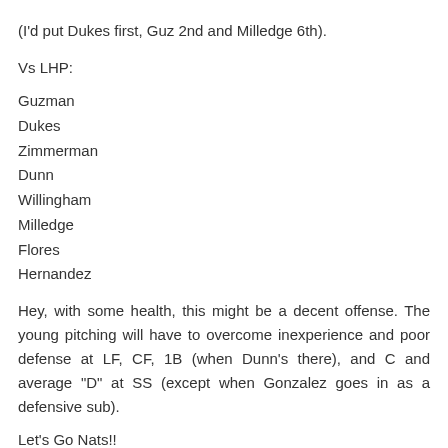(I'd put Dukes first, Guz 2nd and Milledge 6th).
Vs LHP:
Guzman
Dukes
Zimmerman
Dunn
Willingham
Milledge
Flores
Hernandez
Hey, with some health, this might be a decent offense. The young pitching will have to overcome inexperience and poor defense at LF, CF, 1B (when Dunn's there), and C and average "D" at SS (except when Gonzalez goes in as a defensive sub).
Let's Go Nats!!
Reply